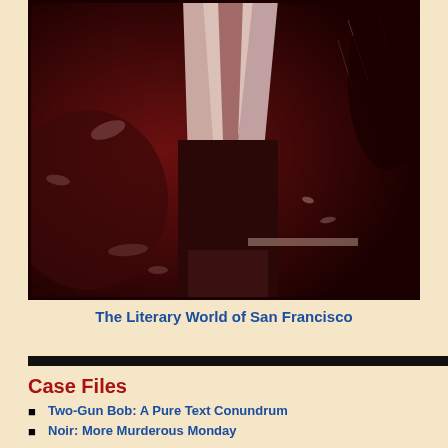[Figure (photo): A dark sepia/maroon-toned vintage photograph showing a draped figure, possibly a person in a long coat or cloak, standing in an outdoor or shadowy setting. The image is high contrast with dark reds and blacks.]
The Literary World of San Francisco
Case Files
Two-Gun Bob: A Pure Text Conundrum
Noir: More Murderous Monday